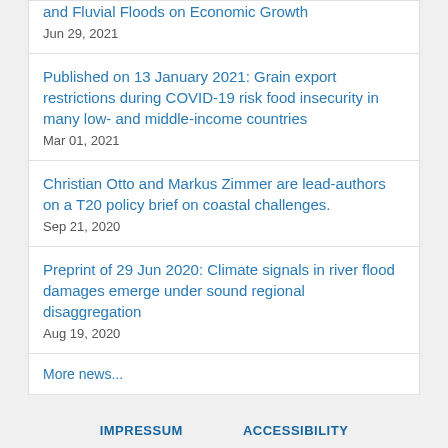and Fluvial Floods on Economic Growth
Jun 29, 2021
Published on 13 January 2021: Grain export restrictions during COVID-19 risk food insecurity in many low- and middle-income countries
Mar 01, 2021
Christian Otto and Markus Zimmer are lead-authors on a T20 policy brief on coastal challenges.
Sep 21, 2020
Preprint of 29 Jun 2020: Climate signals in river flood damages emerge under sound regional disaggregation
Aug 19, 2020
More news...
IMPRESSUM    ACCESSIBILITY